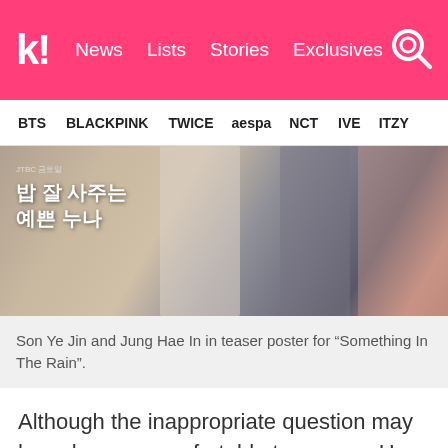k! News  Lists  Stories  Exclusives
BTS  BLACKPINK  TWICE  aespa  NCT  IVE  ITZY
[Figure (photo): Drama teaser poster for 'Something In The Rain' (밥 잘 사주는 예쁜 누나) showing figures standing, with JTBC broadcaster logo and Korean title text overlay]
Son Ye Jin and Jung Hae In in teaser poster for “Something In The Rain”.
Although the inappropriate question may have been uncomfortable to answer, Han Ji Min responded with grace and respect. She revealed that she greatly admires Son Ye Jin for her work but she would like the attention to focus on her own work. When asked...